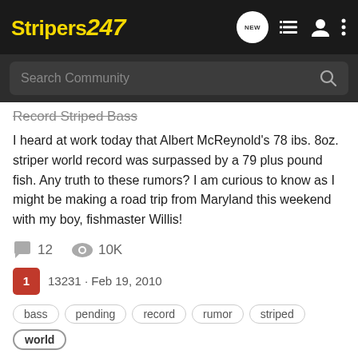Stripers247
Search Community
Record Striped Bass
I heard at work today that Albert McReynold's 78 lbs. 8oz. striper world record was surpassed by a 79 plus pound fish. Any truth to these rumors? I am curious to know as I might be making a road trip from Maryland this weekend with my boy, fishmaster Willis!
12   10K
1   13231 · Feb 19, 2010
bass  pending  record  rumor  striped  world
IGFA approves World Record 20 pound Tippet Fly Rod Class
Stripers on the Fly